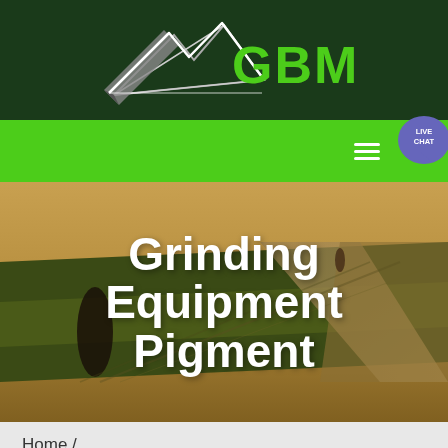[Figure (logo): GBM company logo with mountain/arrow graphic in white and gray on dark green background, with green 'GBM' text]
[Figure (screenshot): Green navigation bar with hamburger menu icon and 'LIVE CHAT' purple speech bubble icon on the right]
[Figure (photo): Aerial photo of agricultural fields with a road, warm green-yellow tones, with overlaid white bold text 'Grinding Equipment Pigment']
Grinding Equipment Pigment
Home /